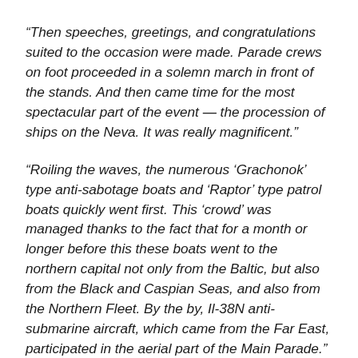“Then speeches, greetings, and congratulations suited to the occasion were made. Parade crews on foot proceeded in a solemn march in front of the stands. And then came time for the most spectacular part of the event — the procession of ships on the Neva. It was really magnificent.”
“Roiling the waves, the numerous ‘Grachonok’ type anti-sabotage boats and ‘Raptor’ type patrol boats quickly went first. This ‘crowd’ was managed thanks to the fact that for a month or longer before this these boats went to the northern capital not only from the Baltic, but also from the Black and Caspian Seas, and also from the Northern Fleet. By the by, Il-38N anti-submarine aircraft, which came from the Far East, participated in the aerial part of the Main Parade.”